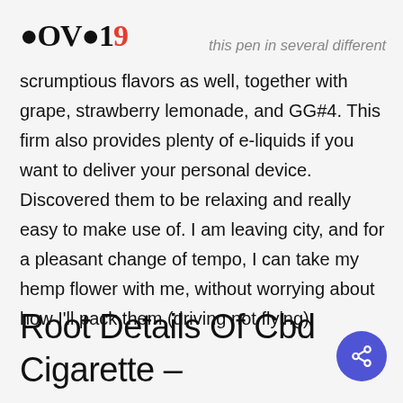COVO19 this pen in several different
scrumptious flavors as well, together with grape, strawberry lemonade, and GG#4. This firm also provides plenty of e-liquids if you want to deliver your personal device. Discovered them to be relaxing and really easy to make use of. I am leaving city, and for a pleasant change of tempo, I can take my hemp flower with me, without worrying about how I'll pack them (driving not flying).
Root Details Of Cbd Cigarette –